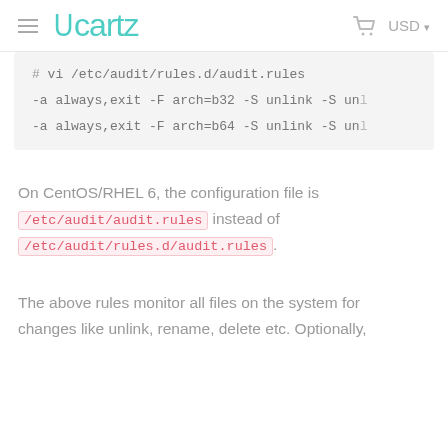Ucartz USD
# vi /etc/audit/rules.d/audit.rules
-a always,exit -F arch=b32 -S unlink -S unl
-a always,exit -F arch=b64 -S unlink -S unl
On CentOS/RHEL 6, the configuration file is /etc/audit/audit.rules instead of /etc/audit/rules.d/audit.rules.
The above rules monitor all files on the system for changes like unlink, rename, delete etc. Optionally,